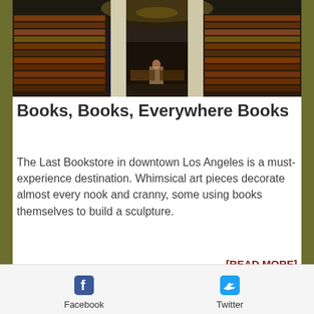[Figure (photo): Interior of The Last Bookstore in downtown Los Angeles — large bookstore with tall columns, shelves full of books floor to ceiling, warm lighting, customers browsing]
Books, Books, Everywhere Books
The Last Bookstore in downtown Los Angeles is a must-experience destination. Whimsical art pieces decorate almost every nook and cranny, some using books themselves to build a sculpture.
[READ MORE]
[Figure (photo): Street-level view of a city shopping district with brick buildings, street lamps, trees, and storefronts under a blue sky]
Facebook   Twitter